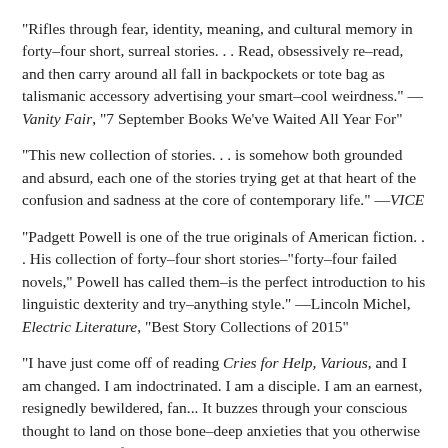"Rifles through fear, identity, meaning, and cultural memory in forty–four short, surreal stories. . . Read, obsessively re–read, and then carry around all fall in backpockets or tote bag as talismanic accessory advertising your smart–cool weirdness." — Vanity Fair, "7 September Books We've Waited All Year For"
"This new collection of stories. . . is somehow both grounded and absurd, each one of the stories trying get at that heart of the confusion and sadness at the core of contemporary life." —VICE
"Padgett Powell is one of the true originals of American fiction. . . His collection of forty–four short stories–"forty–four failed novels," Powell has called them–is the perfect introduction to his linguistic dexterity and try–anything style." —Lincoln Michel, Electric Literature, "Best Story Collections of 2015"
"I have just come off of reading Cries for Help, Various, and I am changed. I am indoctrinated. I am a disciple. I am an earnest, resignedly bewildered, fan... It buzzes through your conscious thought to land on those bone–deep anxieties that you otherwise only let yourself glance at sidelong." —Agatha French, Los Angeles Review of Books